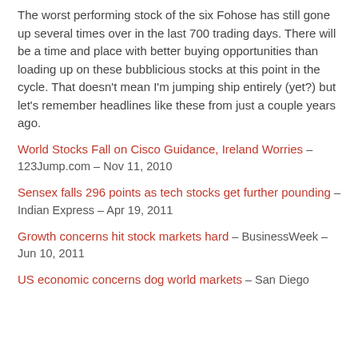The worst performing stock of the six Fohose has still gone up several times over in the last 700 trading days. There will be a time and place with better buying opportunities than loading up on these bubblicious stocks at this point in the cycle. That doesn't mean I'm jumping ship entirely (yet?) but let's remember headlines like these from just a couple years ago.
World Stocks Fall on Cisco Guidance, Ireland Worries – 123Jump.com – Nov 11, 2010
Sensex falls 296 points as tech stocks get further pounding – Indian Express – Apr 19, 2011
Growth concerns hit stock markets hard – BusinessWeek – Jun 10, 2011
US economic concerns dog world markets – San Diego